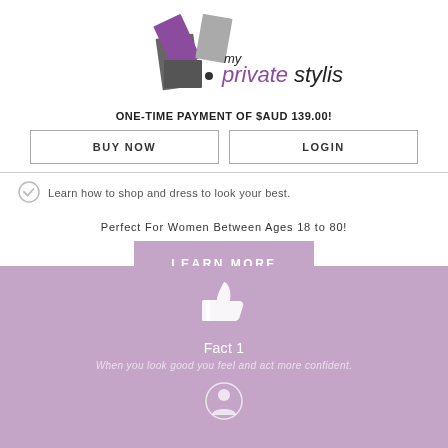[Figure (logo): My Private Stylist logo with geometric shapes in purple and grey]
ONE-TIME PAYMENT OF $AUD 139.00!
BUY NOW
LOGIN
Learn how to shop and dress to look your best.
Perfect For Women Between Ages 18 to 80!
LEARN MORE
[Figure (illustration): Thumbs up icon in white on purple background]
Fact 1
When you look good you feel and act more confident.
[Figure (illustration): Person/profile icon in white on purple background]